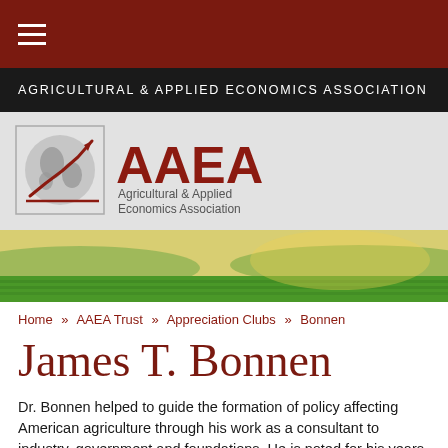AGRICULTURAL & APPLIED ECONOMICS ASSOCIATION
[Figure (logo): AAEA logo with globe and line chart graphic, text 'AAEA Agricultural & Applied Economics Association']
[Figure (photo): Panoramic landscape photo of green agricultural fields with hills and golden sky at sunset/sunrise]
Home » AAEA Trust » Appreciation Clubs » Bonnen
James T. Bonnen
Dr. Bonnen helped to guide the formation of policy affecting American agriculture through his work as a consultant to industry, government and foundations. He is noted for his years of service for the land...